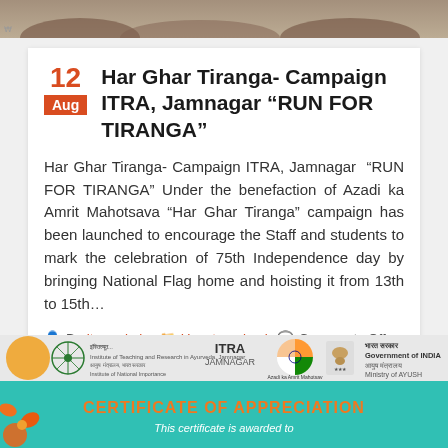[Figure (photo): Top banner image showing a group of people at an event]
Har Ghar Tiranga- Campaign ITRA, Jamnagar "RUN FOR TIRANGA"
Har Ghar Tiranga- Campaign ITRA, Jamnagar  "RUN FOR TIRANGA" Under the benefaction of Azadi ka Amrit Mahotsava "Har Ghar Tiranga" campaign has been launched to encourage the Staff and students to mark the celebration of 75th Independence day by bringing National Flag home and hoisting it from 13th to 15th...
By itra_admin  Uncategorized  Comments Off
READ MORE...
[Figure (photo): ITRA Jamnagar Certificate of Appreciation banner showing ITRA logo, Government of India Ministry of AYUSH logo, Azadi ka Amrit Mahotsava logo, and a teal certificate background with orange CERTIFICATE OF APPRECIATION text]